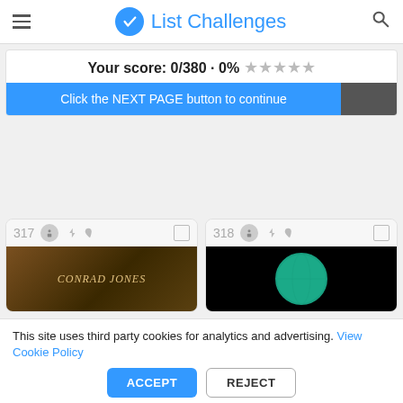List Challenges
Your score: 0/380 · 0% ★★★★★
Click the NEXT PAGE button to continue
[Figure (screenshot): Card 317 - Conrad Jones book cover image]
[Figure (screenshot): Card 318 - Teal/green globe on black background]
This site uses third party cookies for analytics and advertising. View Cookie Policy
ACCEPT
REJECT